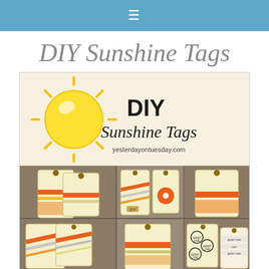≡
DIY Sunshine Tags
[Figure (photo): Collage image showing DIY Sunshine Tags — a title graphic with a sun illustration and the text 'DIY Sunshine Tags yesterdayontuesday.com', plus six decorated luggage-style tags with orange, yellow, and cream ribbons, washi tape, fringe, flowers, 'ADMIT ONE' and 'JOY' embellishments on a wooden background.]